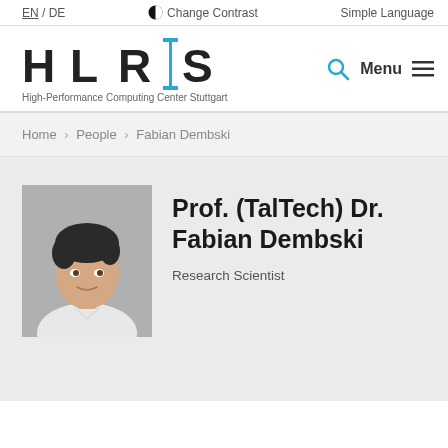EN / DE  |  Change Contrast  |  Simple Language
[Figure (logo): HLRS logo with blue vertical bar between L and S, tagline: High-Performance Computing Center Stuttgart]
Home > People > Fabian Dembski
[Figure (photo): Headshot photo of Fabian Dembski, a young man with dark hair, wearing a white shirt, against a grey background]
Prof. (TalTech) Dr. Fabian Dembski
Research Scientist